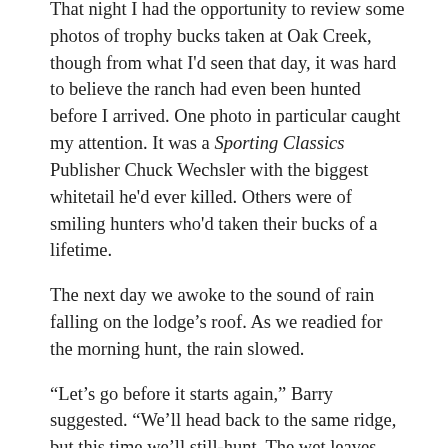That night I had the opportunity to review some photos of trophy bucks taken at Oak Creek, though from what I'd seen that day, it was hard to believe the ranch had even been hunted before I arrived. One photo in particular caught my attention. It was a Sporting Classics Publisher Chuck Wechsler with the biggest whitetail he'd ever killed. Others were of smiling hunters who'd taken their bucks of a lifetime.
The next day we awoke to the sound of rain falling on the lodge's roof. As we readied for the morning hunt, the rain slowed.
“Let’s go before it starts again,” Barry suggested. “We’ll head back to the same ridge, but this time we’ll still-hunt. The wet leaves will allow us to move quietly, and the way the wind is blowing out of the southeast, we’ll be walking into it.”
Less than a mile from the lodge we came to the rain-swollen creek, which was now impassable. Reluctantly